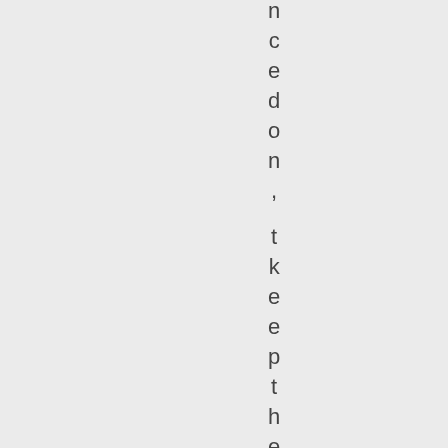n c e d o n , t k e e p t h e h